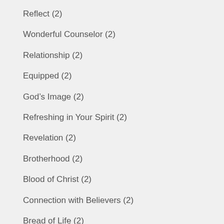Reflect (2)
Wonderful Counselor (2)
Relationship (2)
Equipped (2)
God’s Image (2)
Refreshing in Your Spirit (2)
Revelation (2)
Brotherhood (2)
Blood of Christ (2)
Connection with Believers (2)
Bread of Life (2)
Fire (2)